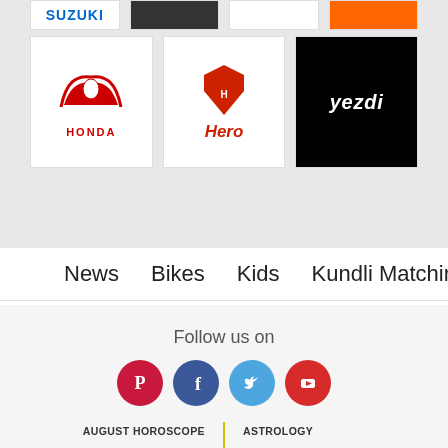[Figure (logo): Grid of motorcycle brand logos including Suzuki, Honda, Hero, Yezdi and others]
News  Bikes  Kids  Kundli Matching  Numerolog >
Follow us on
[Figure (infographic): Social media icons: Pinterest (red), Facebook (dark blue), Twitter (light blue), YouTube (red)]
AUGUST HOROSCOPE
ASTROLOGY
RINGTONES
BABY NAMES
LOVE CALCULATOR
DAILY HOROSCOPE
GENDER PREDICTION
CURRENCY CONVERTER
Ennexa Technologies Pvt.Ltd.
XV476, Manganam, Kottayam, Kerala, India